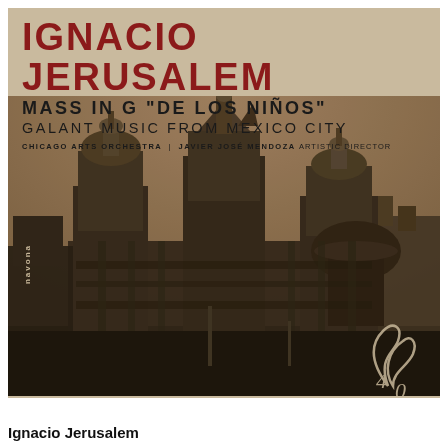[Figure (illustration): Album cover for Ignacio Jerusalem Mass in G De Los Niños, Galant Music from Mexico City. Features a sepia-toned historical photograph of Mexico City Metropolitan Cathedral against a warm beige background. Text overlay includes artist name, album title, performing ensemble. Navona Records label logo visible. Chicago Arts Orchestra, Javier José Mendoza Artistic Director.]
Ignacio Jerusalem